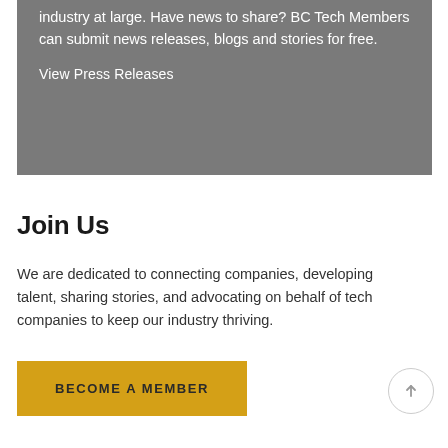industry at large. Have news to share? BC Tech Members can submit news releases, blogs and stories for free.
View Press Releases
Join Us
We are dedicated to connecting companies, developing talent, sharing stories, and advocating on behalf of tech companies to keep our industry thriving.
BECOME A MEMBER